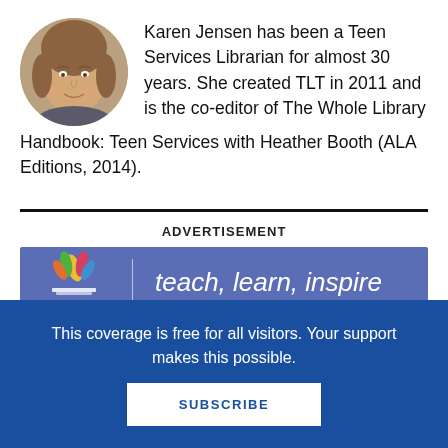[Figure (photo): Circular headshot of Karen Jensen, a woman with shoulder-length blonde-brown hair, smiling, against a blurred background]
Karen Jensen has been a Teen Services Librarian for almost 30 years. She created TLT in 2011 and is the co-editor of The Whole Library Handbook: Teen Services with Heather Booth (ALA Editions, 2014).
[Figure (logo): Advertisement banner with blue-purple background showing a colorful leaf/book logo and the text 'teach, learn, inspire' in white italic script]
ADVERTISEMENT
This coverage is free for all visitors. Your support makes this possible.
SUBSCRIBE